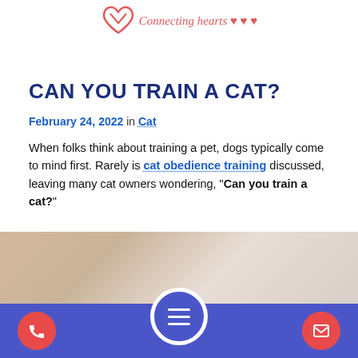[Figure (logo): Heart logo with 'Connecting hearts ♥ ♥ ♥' tagline in red italic script]
CAN YOU TRAIN A CAT?
February 24, 2022 in Cat
When folks think about training a pet, dogs typically come to mind first. Rarely is cat obedience training discussed, leaving many cat owners wondering, "Can you train a cat?"
[Figure (photo): Partial photo of a cat or pet training scene, blurred background]
[Figure (other): Blue footer bar with phone button (red circle, left), hamburger menu button (blue circle, center), and email button (red circle, right)]